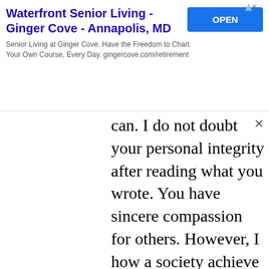[Figure (other): Advertisement banner for Waterfront Senior Living - Ginger Cove - Annapolis, MD with an OPEN button. Text: 'Senior Living at Ginger Cove. Have the Freedom to Chart Your Own Course, Every Day. gingercove.com/retirement']
can. I do not doubt your personal integrity after reading what you wrote. You have sincere compassion for others. However, I how a society achieve justice, the ultimate societal good, is the question. I believe if you maximize liberty in a society with some restraints, our civilization would benefit, all people. The reason is I do believe people are innately